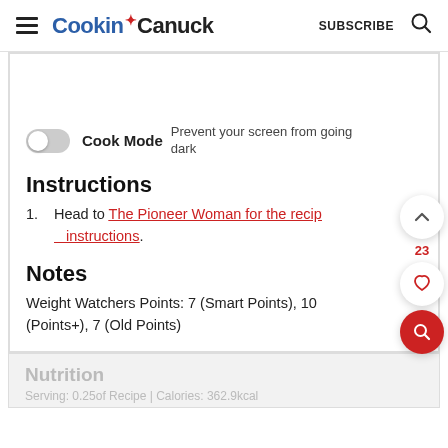Cookin' Canuck | SUBSCRIBE
Cook Mode  Prevent your screen from going dark
Instructions
1. Head to The Pioneer Woman for the recipe instructions.
Notes
Weight Watchers Points: 7 (Smart Points), 10 (Points+), 7 (Old Points)
Nutrition
Serving: 0.25of Recipe | Calories: 362.9kcal